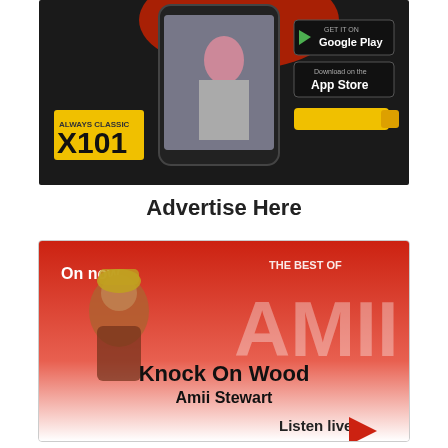[Figure (screenshot): X101 Always Classic radio app advertisement showing a smartphone with a person on screen, Google Play and App Store download buttons, and the X101 logo on a dark background.]
Advertise Here
[Figure (infographic): Radio station widget showing 'On now' with 'THE BEST OF' text, an artistic figure with a crown/helmet, large 'AMII' text in background, song title 'Knock On Wood' by 'Amii Stewart', and a 'Listen live' button with a red play triangle, all on a red-to-white gradient background.]